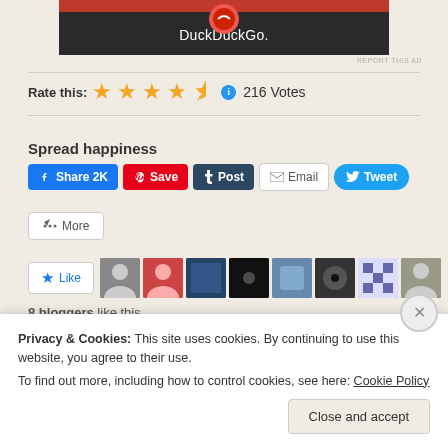[Figure (screenshot): DuckDuckGo advertisement banner with dark background]
REPORT THIS AD
Rate this: ★★★★½  ℹ 216 Votes
Spread happiness
Share 2K  Save  Post  Email  Tweet  More
Like  8 bloggers like this.
Privacy & Cookies: This site uses cookies. By continuing to use this website, you agree to their use.
To find out more, including how to control cookies, see here: Cookie Policy
Close and accept